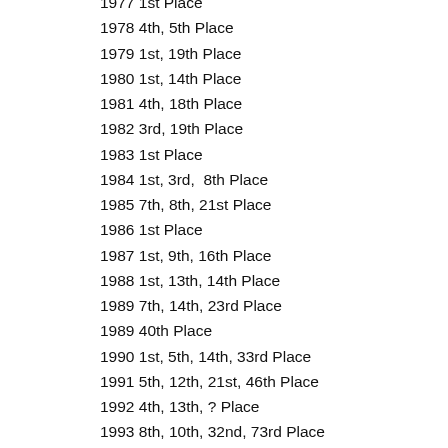1977 1st Place
1978 4th, 5th Place
1979 1st, 19th Place
1980 1st, 14th Place
1981 4th, 18th Place
1982 3rd, 19th Place
1983 1st Place
1984 1st, 3rd,  8th Place
1985 7th, 8th, 21st Place
1986 1st Place
1987 1st, 9th, 16th Place
1988 1st, 13th, 14th Place
1989 7th, 14th, 23rd Place
1989 40th Place
1990 1st, 5th, 14th, 33rd Place
1991 5th, 12th, 21st, 46th Place
1992 4th, 13th, ? Place
1993 8th, 10th, 32nd, 73rd Place